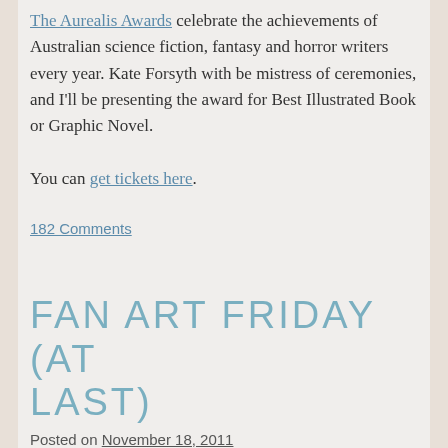The Aurealis Awards celebrate the achievements of Australian science fiction, fantasy and horror writers every year. Kate Forsyth with be mistress of ceremonies, and I'll be presenting the award for Best Illustrated Book or Graphic Novel.
You can get tickets here.
182 Comments
FAN ART FRIDAY (AT LAST)
Posted on November 18, 2011
Oops.
I sort of didn't do FAF last week, because I was all